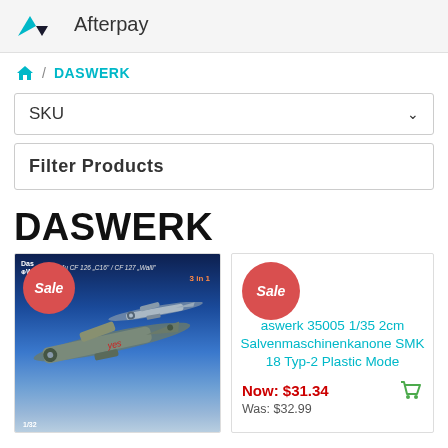[Figure (logo): Afterpay logo with teal chevron/arrow icon and text 'Afterpay']
⌂ / DASWERK
SKU
Filter Products
DASWERK
[Figure (photo): Product box art showing Ju CF 126 'C16' / CF 127 'Walli' aircraft model kit 3-in-1, 1/32 scale, Das Werk brand. Blue sky background with aircraft models.]
Daswerk 35005 1/35 2cm Salvenmaschinenkanone SMK 18 Typ-2 Plastic Mode
Now: $31.34
Was: $32.99